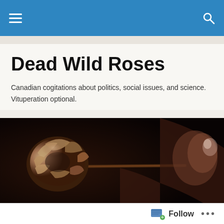Navigation bar with hamburger menu and search icon
Dead Wild Roses
Canadian cogitations about politics, social issues, and science. Vituperation optional.
[Figure (photo): A dried/dead rose held horizontally against a dark background, with dark sepia tones. The wilted rose petals are visible on the left side.]
DAILY ARCHIVES: JANUARY 31, 2020
The DWR Friday Baroque
Follow ...